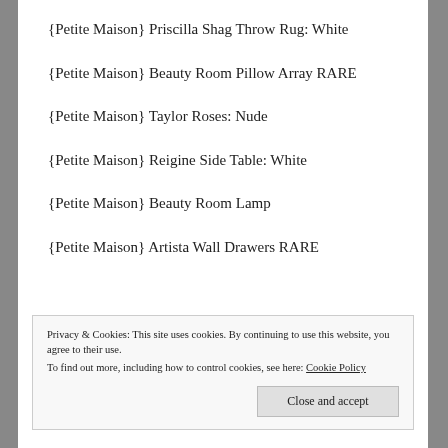{Petite Maison} Priscilla Shag Throw Rug: White
{Petite Maison} Beauty Room Pillow Array RARE
{Petite Maison} Taylor Roses: Nude
{Petite Maison} Reigine Side Table: White
{Petite Maison} Beauty Room Lamp
{Petite Maison} Artista Wall Drawers RARE
Privacy & Cookies: This site uses cookies. By continuing to use this website, you agree to their use.
To find out more, including how to control cookies, see here: Cookie Policy